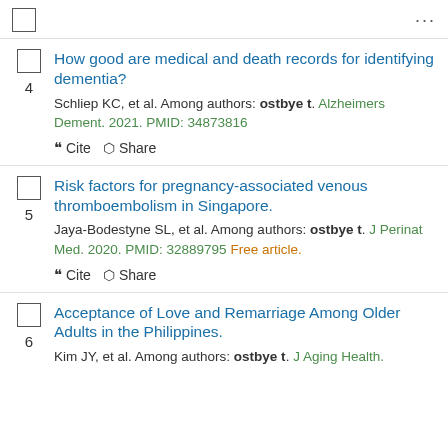...
4. How good are medical and death records for identifying dementia? Schliep KC, et al. Among authors: ostbye t. Alzheimers Dement. 2021. PMID: 34873816
5. Risk factors for pregnancy-associated venous thromboembolism in Singapore. Jaya-Bodestyne SL, et al. Among authors: ostbye t. J Perinat Med. 2020. PMID: 32889795 Free article.
6. Acceptance of Love and Remarriage Among Older Adults in the Philippines. Kim JY, et al. Among authors: ostbye t. J Aging Health.